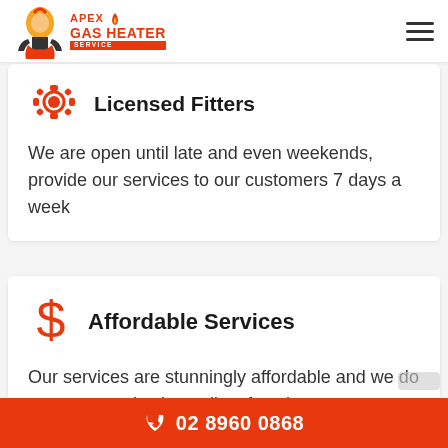Apex Gas Heater Service
Licensed Fitters
We are open until late and even weekends, provide our services to our customers 7 days a week
Affordable Services
Our services are stunningly affordable and we do not compromise in quality of work
02 8960 0868